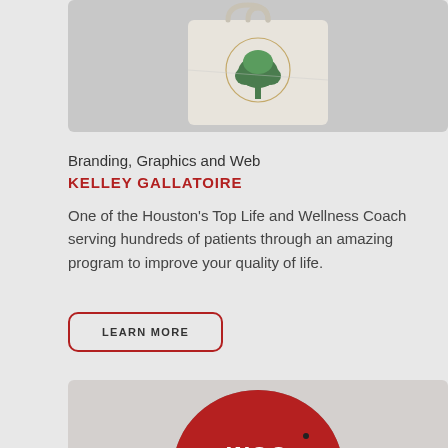[Figure (photo): A folded canvas tote bag with a green tree logo inside a circular emblem on a grey background]
Branding, Graphics and Web
KELLEY GALLATOIRE
One of the Houston's Top Life and Wellness Coach serving hundreds of patients through an amazing program to improve your quality of life.
LEARN MORE
[Figure (photo): Partial view of a circular badge/logo with red and white colors showing partial text 'woo']